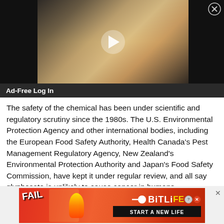[Figure (screenshot): Video thumbnail showing a woman at a conference table with a play button overlay, on a dark background]
Ad-Free Log In
The safety of the chemical has been under scientific and regulatory scrutiny since the 1980s. The U.S. Environmental Protection Agency and other international bodies, including the European Food Safety Authority, Health Canada's Pest Management Regulatory Agency, New Zealand's Environmental Protection Authority and Japan's Food Safety Commission, have kept it under regular review, and all say glyphosate is unlikely to cause cancer in humans.
[Figure (screenshot): BitLife advertisement banner with FAIL text and START A NEW LIFE tagline on red/orange background]